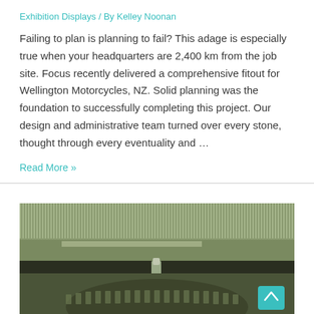Exhibition Displays / By Kelley Noonan
Failing to plan is planning to fail? This adage is especially true when your headquarters are 2,400 km from the job site. Focus recently delivered a comprehensive fitout for Wellington Motorcycles, NZ. Solid planning was the foundation to successfully completing this project. Our design and administrative team turned over every stone, thought through every eventuality and …
Read More »
[Figure (photo): Close-up photo of mechanical gears with a green-tinted sepia tone, showing interlocking gear teeth and a central bolt/pin. A teal scroll-to-top button overlaid in bottom right corner.]